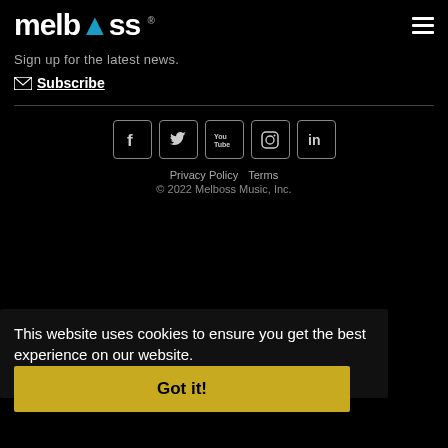melboss
Sign up for the latest news.
Subscribe
[Figure (other): Five social media icon buttons: Facebook, Twitter, YouTube, Instagram, LinkedIn]
Privacy Policy   Terms
© 2022 Melboss Music, Inc.
This website uses cookies to ensure you get the best experience on our website. Learn more
Got it!